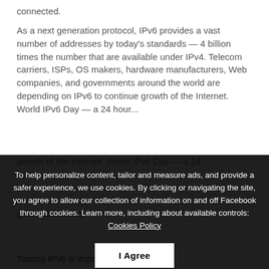connected.
As a next generation protocol, IPv6 provides a vast number of addresses by today's standards — 4 billion times the number that are available under IPv4. Telecom carriers, ISPs, OS makers, hardware manufacturers, Web companies, and governments around the world are depending on IPv6 to continue growth of the Internet. World IPv6 Day — a 24 hour...
To help personalize content, tailor and measure ads, and provide a safer experience, we use cookies. By clicking or navigating the site, you agree to allow our collection of information on and off Facebook through cookies. Learn more, including about available controls: Cookies Policy
I Agree
Testing IPv6 is impo... cause recent